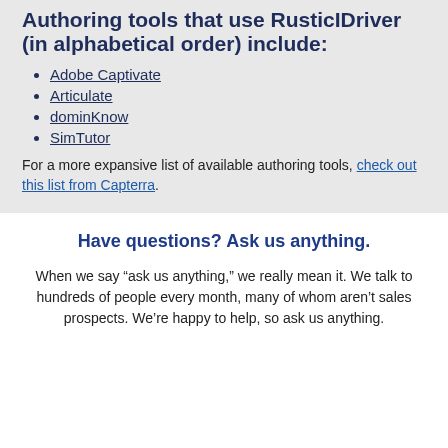Authoring tools that use RusticIDriver (in alphabetical order) include:
Adobe Captivate
Articulate
dominKnow
SimTutor
For a more expansive list of available authoring tools, check out this list from Capterra.
Have questions? Ask us anything.
When we say “ask us anything,” we really mean it. We talk to hundreds of people every month, many of whom aren’t sales prospects. We’re happy to help, so ask us anything.